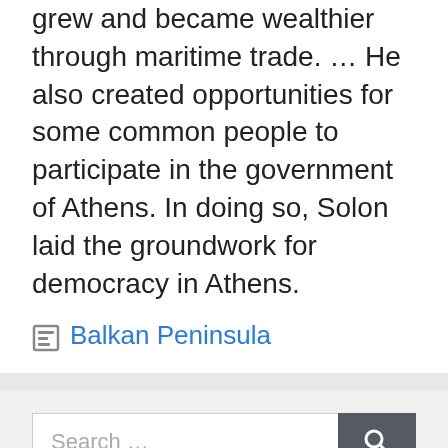grew and became wealthier through maritime trade. … He also created opportunities for some common people to participate in the government of Athens. In doing so, Solon laid the groundwork for democracy in Athens.
Balkan Peninsula
Search …
From the author